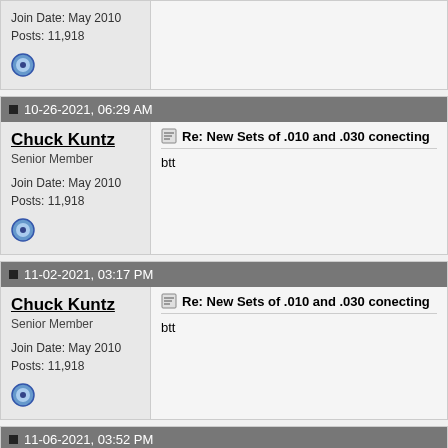Join Date: May 2010
Posts: 11,918
10-26-2021, 06:29 AM
Chuck Kuntz
Senior Member
Join Date: May 2010
Posts: 11,918
Re: New Sets of .010 and .030 conecting
btt
11-02-2021, 03:17 PM
Chuck Kuntz
Senior Member
Join Date: May 2010
Posts: 11,918
Re: New Sets of .010 and .030 conecting
btt
11-06-2021, 03:52 PM
Chuck Kuntz
Senior Member
Re: New Sets of .010 and .030 conecting